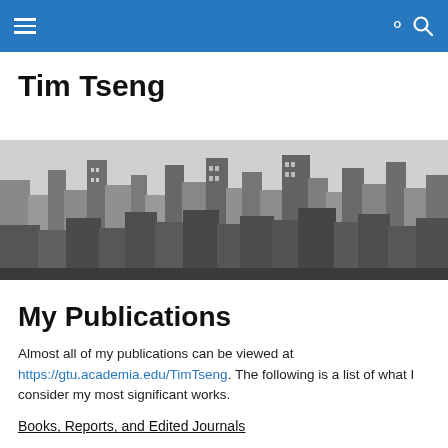Navigation bar with hamburger menu and search icon
Tim Tseng
[Figure (photo): Black and white aerial photograph of a dense urban skyline with tall skyscrapers]
My Publications
Almost all of my publications can be viewed at https://gtu.academia.edu/TimTseng. The following is a list of what I consider my most significant works.
Books, Reports, and Edited Journals